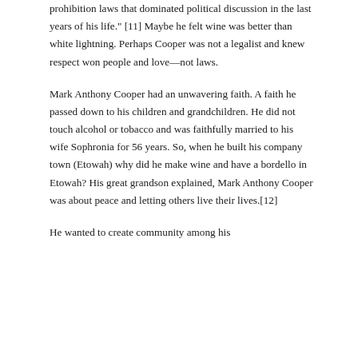prohibition laws that dominated political discussion in the last years of his life." [11] Maybe he felt wine was better than white lightning. Perhaps Cooper was not a legalist and knew respect won people and love—not laws.
Mark Anthony Cooper had an unwavering faith. A faith he passed down to his children and grandchildren. He did not touch alcohol or tobacco and was faithfully married to his wife Sophronia for 56 years. So, when he built his company town (Etowah) why did he make wine and have a bordello in Etowah? His great grandson explained, Mark Anthony Cooper was about peace and letting others live their lives.[12]
He wanted to create community among his